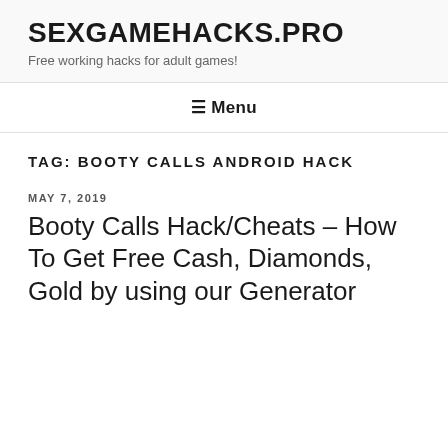SEXGAMEHACKS.PRO
Free working hacks for adult games!
≡ Menu
TAG: BOOTY CALLS ANDROID HACK
MAY 7, 2019
Booty Calls Hack/Cheats – How To Get Free Cash, Diamonds, Gold by using our Generator